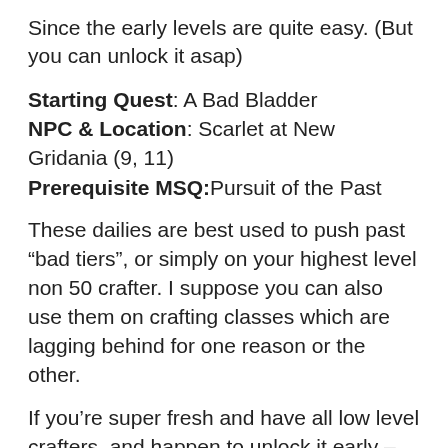Since the early levels are quite easy. (But you can unlock it asap)
Starting Quest: A Bad Bladder
NPC & Location: Scarlet at New Gridania (9, 11)
Prerequisite MSQ:Pursuit of the Past
These dailies are best used to push past “bad tiers”, or simply on your highest level non 50 crafter. I suppose you can also use them on crafting classes which are lagging behind for one reason or the other.
If you’re super fresh and have all low level crafters, and happen to unlock it early – you CAN do them now. While I don’t recommend it, I suppose it’s better than them just disappearing!